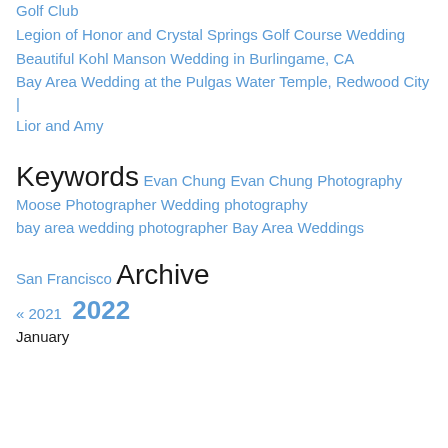Golf Club
Legion of Honor and Crystal Springs Golf Course Wedding
Beautiful Kohl Manson Wedding in Burlingame, CA
Bay Area Wedding at the Pulgas Water Temple, Redwood City | Lior and Amy
Keywords
Evan Chung
Evan Chung Photography
Moose
Photographer
Wedding
photography
bay area wedding photographer
Bay Area
Weddings
San Francisco
Archive
« 2021  2022
January